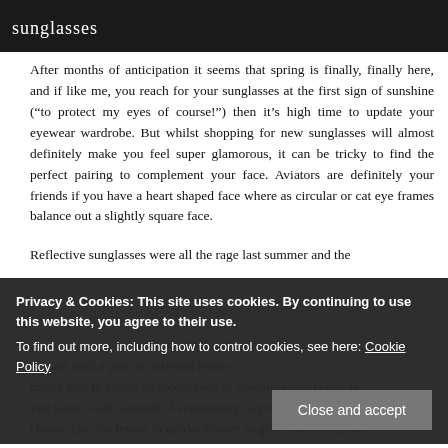sunglasses
After months of anticipation it seems that spring is finally, finally here, and if like me, you reach for your sunglasses at the first sign of sunshine (“to protect my eyes of course!”) then it’s high time to update your eyewear wardrobe. But whilst shopping for new sunglasses will almost definitely make you feel super glamorous, it can be tricky to find the perfect pairing to complement your face. Aviators are definitely your friends if you have a heart shaped face where as circular or cat eye frames balance out a slightly square face.
Reflective sunglasses were all the rage last summer and the ...
Privacy & Cookies: This site uses cookies. By continuing to use this website, you agree to their use. To find out more, including how to control cookies, see here: Cookie Policy
Close and accept